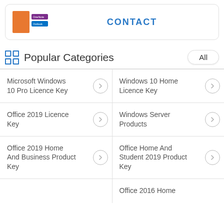[Figure (screenshot): Top card showing Microsoft Office product box (orange) with OneNote and Outlook icons, and a CONTACT button in blue]
Popular Categories
Microsoft Windows 10 Pro Licence Key
Windows 10 Home Licence Key
Office 2019 Licence Key
Windows Server Products
Office 2019 Home And Business Product Key
Office Home And Student 2019 Product Key
Office 2016 Home